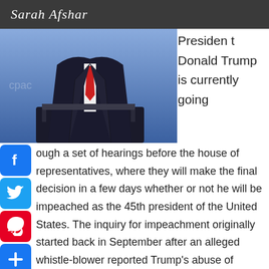Sarah Afshar
[Figure (photo): President Donald Trump standing at a podium with the Presidential seal, wearing a dark suit and red tie, blue background]
President Donald Trump is currently going through a set of hearings before the house of representatives, where they will make the final decision in a few days whether or not he will be impeached as the 45th president of the United States. The inquiry for impeachment originally started back in September after an alleged whistle-blower reported Trump's abuse of power. This, of course, prompted an investigation followed by a series of impeachment hearings. And as you are probably aware, the hearings started earlier this